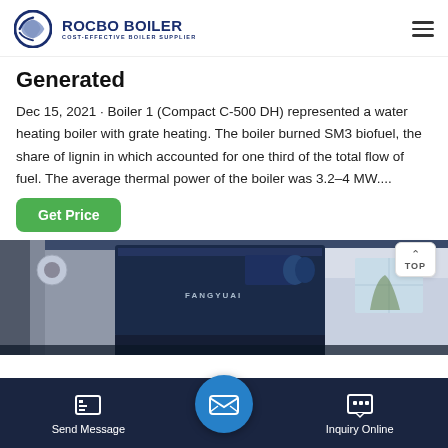[Figure (logo): Rocbo Boiler logo with circular blue icon and text 'ROCBO BOILER - COST-EFFECTIVE BOILER SUPPLIER']
Generated
Dec 15, 2021 · Boiler 1 (Compact C-500 DH) represented a water heating boiler with grate heating. The boiler burned SM3 biofuel, the share of lignin in which accounted for one third of the total flow of fuel. The average thermal power of the boiler was 3.2–4 MW....
[Figure (photo): Industrial boiler machinery photo showing large blue industrial equipment labeled FANGYUAI in a factory setting with windows on the right side]
Send Message | Inquiry Online